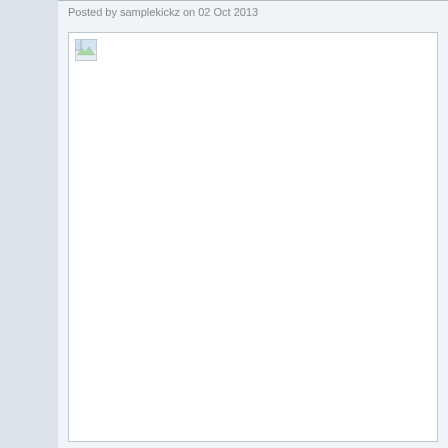Posted by samplekickz on 02 Oct 2013
[Figure (photo): Broken image placeholder — white rectangle with broken image icon in top-left corner]